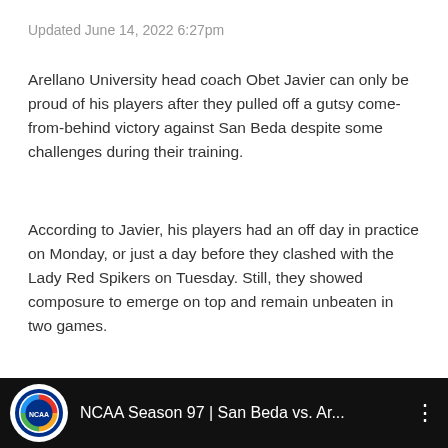Updated June 14, 2022 6:27pm
Arellano University head coach Obet Javier can only be proud of his players after they pulled off a gutsy come-from-behind victory against San Beda despite some challenges during their training.
According to Javier, his players had an off day in practice on Monday, or just a day before they clashed with the Lady Red Spikers on Tuesday. Still, they showed composure to emerge on top and remain unbeaten in two games.
[Figure (screenshot): YouTube video thumbnail bar showing NCAA Season 97 | San Beda vs. Ar... with a circular NCAA logo on the left and a vertical dots menu icon on the right, on a black background.]